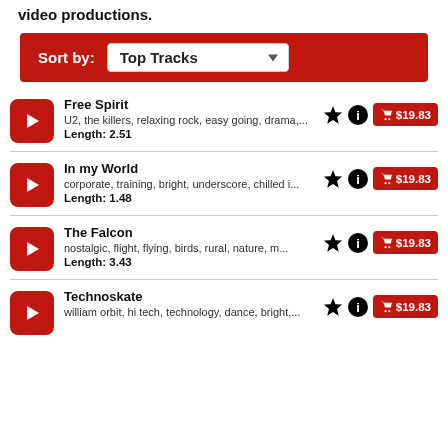video productions.
Sort by: Top Tracks
Free Spirit – U2, the killers, relaxing rock, easy going, drama.... Length: 2.51 – $19.83
In my World – corporate, training, bright, underscore, chilled i... Length: 1.48 – $19.83
The Falcon – nostalgic, flight, flying, birds, rural, nature, m... Length: 3.43 – $19.83
Technoskate – william orbit, hi tech, technology, dance, bright,... – $19.83